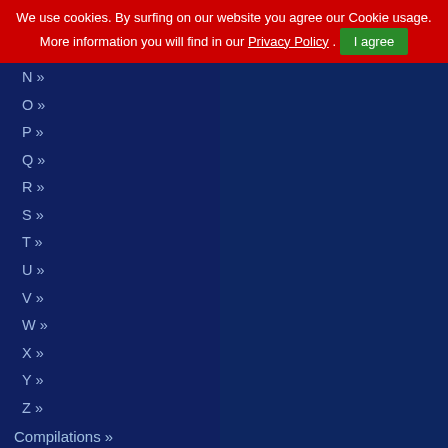We use cookies. By surfing on our website you agree our Cookie usage. More information you will find in our Privacy Policy . I agree
N »
O »
P »
Q »
R »
S »
T »
U »
V »
W »
X »
Y »
Z »
Compilations »
Newcomer »
Merchandise »
Radio Drama / Audio Book »
Packages
Accessories
Books / Magazines
Seconds
For Free
Gift Vouchers